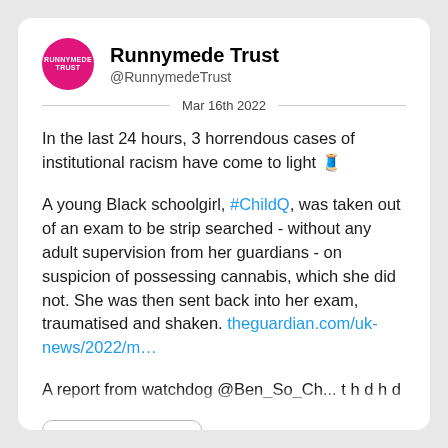Runnymede Trust @RunnymedeTrust
Mar 16th 2022
In the last 24 hours, 3 horrendous cases of institutional racism have come to light 🧵
A young Black schoolgirl, #ChildQ, was taken out of an exam to be strip searched - without any adult supervision from her guardians - on suspicion of possessing cannabis, which she did not. She was then sent back into her exam, traumatised and shaken. theguardian.com/uk-news/2022/m…